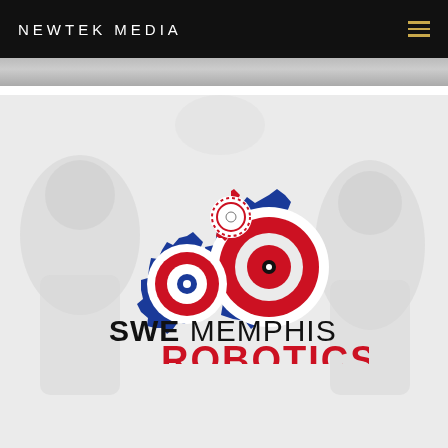NEWTEK MEDIA
[Figure (logo): SWE Memphis Robotics logo featuring two blue gear cogs (one large, one small) and a smaller red-and-white gear, with text 'SWE MEMPHIS ROBOTICS' below on a light grey background with faint people silhouettes]